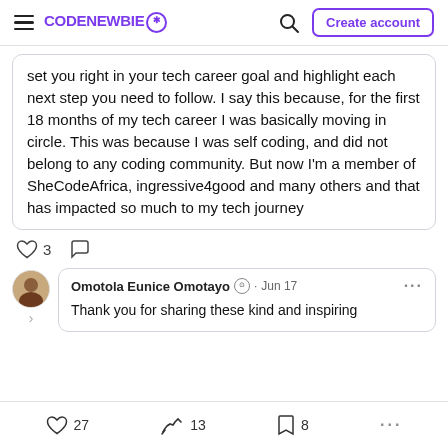CodeNewbie - Create account
set you right in your tech career goal and highlight each next step you need to follow. I say this because, for the first 18 months of my tech career I was basically moving in circle. This was because I was self coding, and did not belong to any coding community. But now I'm a member of SheCodeAfrica, ingressive4good and many others and that has impacted so much to my tech journey
3 [likes] [comments]
Omotola Eunice Omotayo · Jun 17
Thank you for sharing these kind and inspiring
27 [likes]  13 [reactions]  8 [bookmarks]  ...